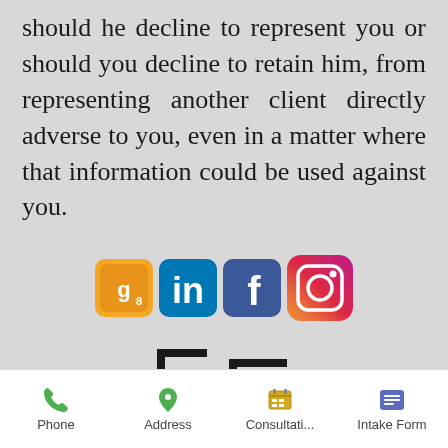should he decline to represent you or should you decline to retain him, from representing another client directly adverse to you, even in a matter where that information could be used against you.
[Figure (logo): Social media icons: Google Maps, LinkedIn, Facebook, Instagram]
[Figure (logo): CLO logo - Cincotta Law Office bracket-style logo]
Cincotta Law Office, PLLC
©2019-22 by Cincotta Law Office, PLLC.
Disclaimer
Site Map
Phone | Address | Consultati... | Intake Form